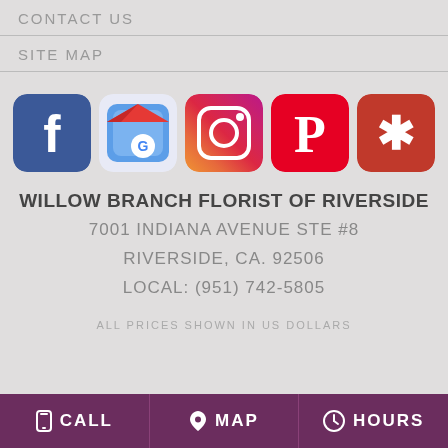CONTACT US
SITE MAP
[Figure (logo): Social media icons row: Facebook, Google My Business, Instagram, Pinterest, Yelp]
WILLOW BRANCH FLORIST OF RIVERSIDE
7001 INDIANA AVENUE STE #8
RIVERSIDE, CA. 92506
LOCAL: (951) 742-5805
ALL PRICES SHOWN IN US DOLLARS
CALL  MAP  HOURS